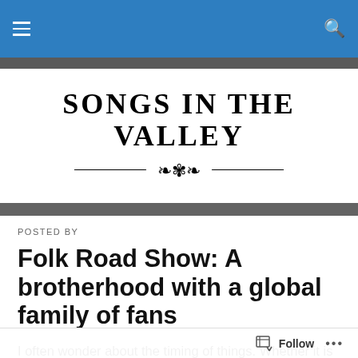Songs in the Valley — navigation bar
[Figure (logo): Songs in the Valley blog logo with serif display text and decorative floral ornament divider]
POSTED BY
Folk Road Show: A brotherhood with a global family of fans
I often wonder about the timing of things. Whether it is
Follow